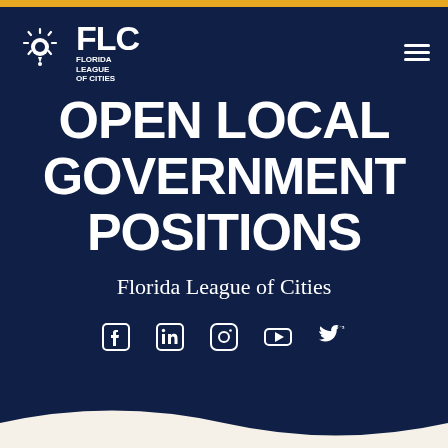[Figure (logo): Florida League of Cities logo with sun/map pin icon, FLC text, and FLORIDA LEAGUE OF CITIES text]
OPEN LOCAL GOVERNMENT POSITIONS
Florida League of Cities
[Figure (infographic): Social media icons row: Facebook, LinkedIn, Instagram, YouTube, Twitter]